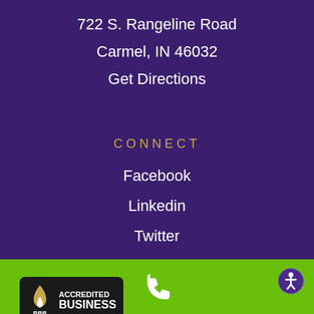722 S. Rangeline Road
Carmel, IN 46032
Get Directions
CONNECT
Facebook
Linkedin
Twitter
[Figure (logo): BBB Accredited Business badge with flame logo, black background, text reads ACCREDITED BUSINESS BBB, with Click for Profile below]
[Figure (illustration): White phone handset icon on green bar]
[Figure (illustration): Accessibility icon (person in circle) on purple background, bottom right corner]